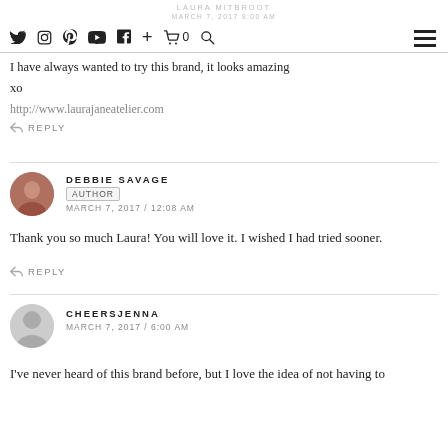LAURA MITBROOT / MARCH 7, 2017 8:00 AM — icons: twitter, instagram, pinterest, youtube, facebook, plus, cart 0, search, menu
I have always wanted to try this brand, it looks amazing
xo
http://www.laurajaneatelier.com
↩ REPLY
DEBBIE SAVAGE
AUTHOR
MARCH 7, 2017 / 12:08 AM
Thank you so much Laura! You will love it. I wished I had tried sooner.
↩ REPLY
CHEERSJENNA
MARCH 7, 2017 / 6:00 AM
I've never heard of this brand before, but I love the idea of not having to